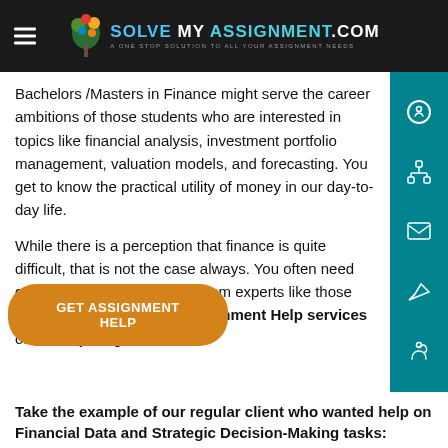SOLVE MY ASSIGNMENT.COM — A ONE STOP SOLUTION TO ALL YOUR ASSIGNMENT NEEDS
Bachelors /Masters in Finance might serve the career ambitions of those students who are interested in topics like financial analysis, investment portfolio management, valuation models, and forecasting. You get to know the practical utility of money in our day-to-day life.
While there is a perception that finance is quite difficult, that is not the case always. You often need good support and guidance from experts like those available at the Finance Assignment Help services of solvemyassignment.com.
GET ASSIGNMENT HELP
Take the example of our regular client who wanted help on Financial Data and Strategic Decision-Making tasks: